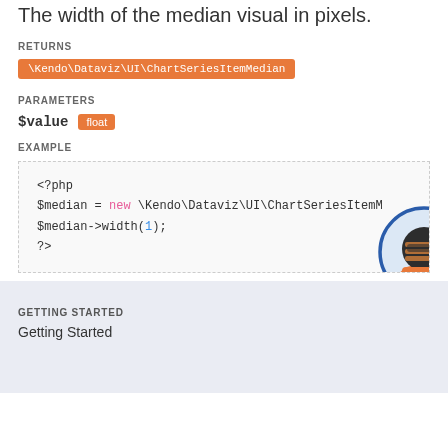The width of the median visual in pixels.
RETURNS
\Kendo\Dataviz\UI\ChartSeriesItemMedian
PARAMETERS
$value  float
EXAMPLE
<?php
$median = new \Kendo\Dataviz\UI\ChartSeriesItemM
$median->width(1);
?>
[Figure (illustration): Ninja mascot icon in a circle with orange and dark colors]
GETTING STARTED
Getting Started